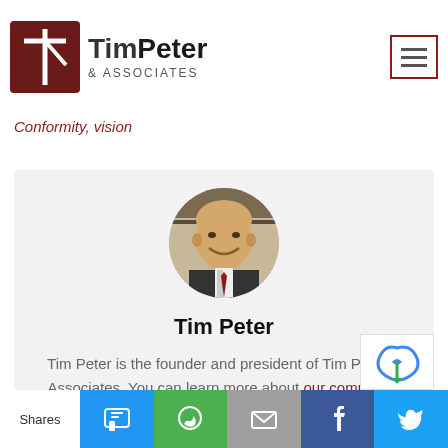Tim Peter & Associates
Conformity, vision
[Figure (photo): Circular headshot photo of Tim Peter, a bald man in a suit, smiling]
Tim Peter
Tim Peter is the founder and president of Tim Peter & Associates. You can learn more about our company's strategy and digital marketing consulting services here or abo
Shares | SMS | WhatsApp | Email | Facebook | Twitter